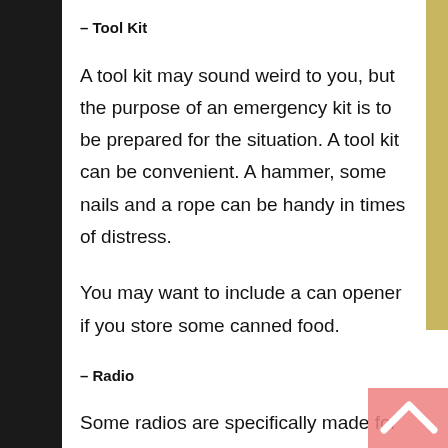– Tool Kit
A tool kit may sound weird to you, but the purpose of an emergency kit is to be prepared for the situation. A tool kit can be convenient. A hammer, some nails and a rope can be handy in times of distress.
You may want to include a can opener if you store some canned food.
– Radio
Some radios are specifically made for emergencies. Try to find one that can wo